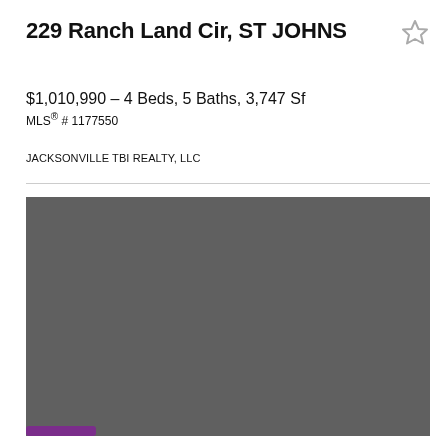229 Ranch Land Cir, ST JOHNS
$1,010,990 - 4 Beds, 5 Baths, 3,747 Sf
MLS® # 1177550
JACKSONVILLE TBI REALTY, LLC
[Figure (photo): Property photo placeholder — dark gray rectangular image area]